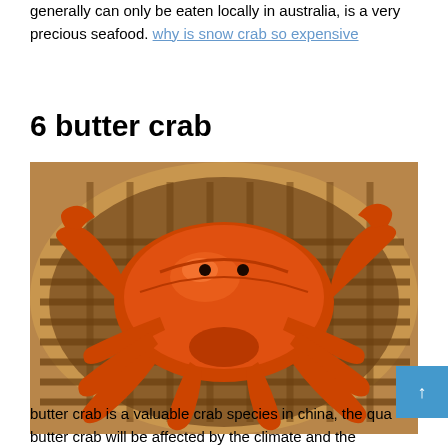generally can only be eaten locally in australia, is a very precious seafood. why is snow crab so expensive
6 butter crab
[Figure (photo): A large orange/red cooked crab sitting in a round bamboo steamer basket, viewed from above at a slight angle.]
butter crab is a valuable crab species in china, the qua butter crab will be affected by the climate and the